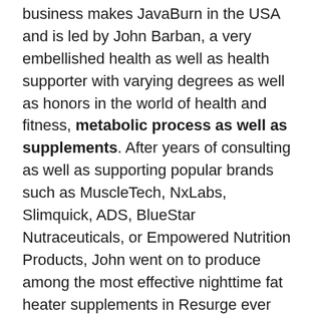business makes JavaBurn in the USA and is led by John Barban, a very embellished health as well as health supporter with varying degrees as well as honors in the world of health and fitness, metabolic process as well as supplements. After years of consulting as well as supporting popular brands such as MuscleTech, NxLabs, Slimquick, ADS, BlueStar Nutraceuticals, or Empowered Nutrition Products, John went on to produce among the most effective nighttime fat heater supplements in Resurge ever developed, as well as currently has one more high quality as well as distinctly positioned item in the JavaBurn coffee boosting booster supplement.
What Is The Role Of Metabolic